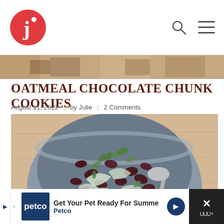[Figure (logo): Julies Eats and Treats logo - red circle with white letter J and dot]
OATMEAL CHOCOLATE CHUNK COOKIES
August 11, 2022 | by Julie | 2 Comments
[Figure (photo): Food photo of a bowl with beans, fennel, dill and a spoon on a wooden surface]
Get Your Pet Ready For Summe Petco